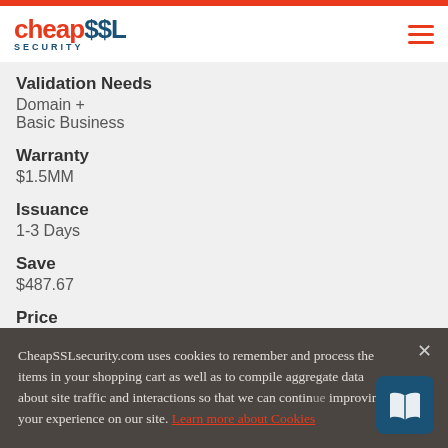[Figure (logo): CheapSSL Security logo with red 'cheap' text and dark teal '$$L' text]
Validation Needs
Domain +
Basic Business
Warranty
$1.5MM
Issuance
1-3 Days
Save
$487.67
Price
$507.33/yr.
CheapSSLsecurity.com uses cookies to remember and process the items in your shopping cart as well as to compile aggregate data about site traffic and interactions so that we can continue improving your experience on our site. Learn more about Cookies